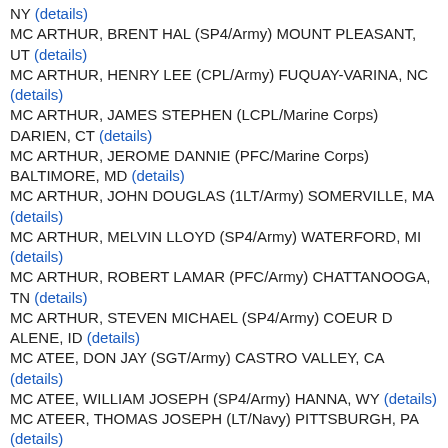NY (details)
MC ARTHUR, BRENT HAL (SP4/Army) MOUNT PLEASANT, UT (details)
MC ARTHUR, HENRY LEE (CPL/Army) FUQUAY-VARINA, NC (details)
MC ARTHUR, JAMES STEPHEN (LCPL/Marine Corps) DARIEN, CT (details)
MC ARTHUR, JEROME DANNIE (PFC/Marine Corps) BALTIMORE, MD (details)
MC ARTHUR, JOHN DOUGLAS (1LT/Army) SOMERVILLE, MA (details)
MC ARTHUR, MELVIN LLOYD (SP4/Army) WATERFORD, MI (details)
MC ARTHUR, ROBERT LAMAR (PFC/Army) CHATTANOOGA, TN (details)
MC ARTHUR, STEVEN MICHAEL (SP4/Army) COEUR D ALENE, ID (details)
MC ATEE, DON JAY (SGT/Army) CASTRO VALLEY, CA (details)
MC ATEE, WILLIAM JOSEPH (SP4/Army) HANNA, WY (details)
MC ATEER, THOMAS JOSEPH (LT/Navy) PITTSBURGH, PA (details)
MC AULEY, GUY THOMAS (LCPL/Marine Corps) MOBILE, AL (details)